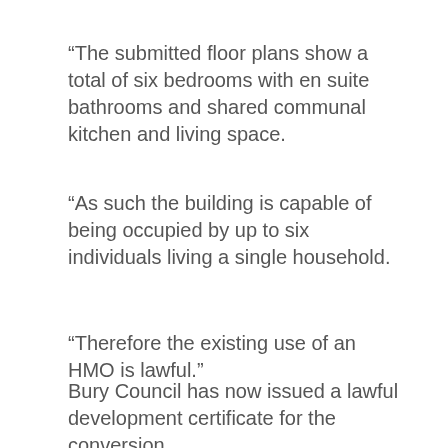“The submitted floor plans show a total of six bedrooms with en suite bathrooms and shared communal kitchen and living space.
“As such the building is capable of being occupied by up to six individuals living a single household.
“Therefore the existing use of an HMO is lawful.”
Bury Council has now issued a lawful development certificate for the conversion.
[Figure (screenshot): Advertisement showing phone mockups with 'Get the Latest News', 'Man United', and 'With Sleek Picture Galleries' promotional content.]